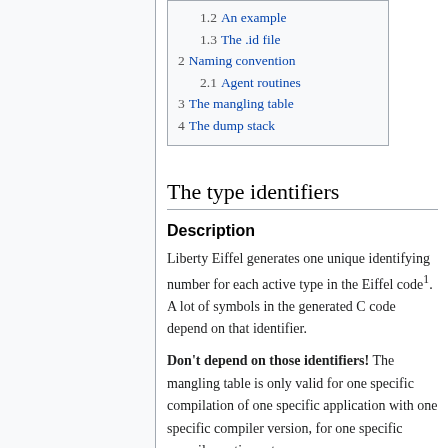1.2 An example
1.3 The .id file
2 Naming convention
2.1 Agent routines
3 The mangling table
4 The dump stack
The type identifiers
Description
Liberty Eiffel generates one unique identifying number for each active type in the Eiffel code¹. A lot of symbols in the generated C code depend on that identifier.
Don't depend on those identifiers! The mangling table is only valid for one specific compilation of one specific application with one specific compiler version, for one specific compiler option set.